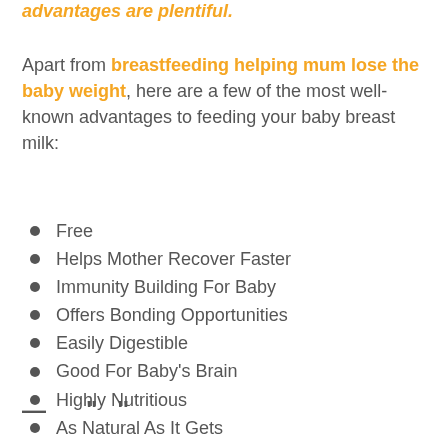advantages are plentiful.
Apart from breastfeeding helping mum lose the baby weight, here are a few of the most well-known advantages to feeding your baby breast milk:
Free
Helps Mother Recover Faster
Immunity Building For Baby
Offers Bonding Opportunities
Easily Digestible
Good For Baby's Brain
Highly Nutritious
As Natural As It Gets
—